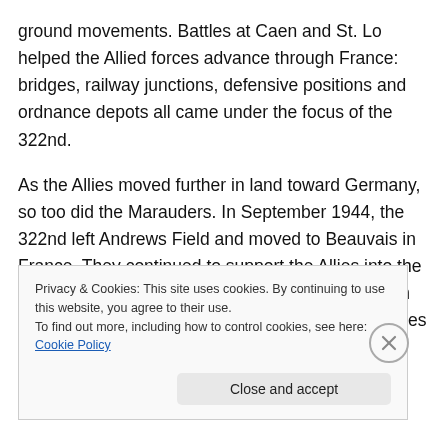ground movements. Battles at Caen and St. Lo helped the Allied forces advance through France: bridges, railway junctions, defensive positions and ordnance depots all came under the focus of the 322nd.
As the Allies moved further in land toward Germany, so too did the Marauders. In September 1944, the 322nd left Andrews Field and moved to Beauvais in France. They continued to support the Allies into the German Heartland performing their last mission on April 24th 1945, before commencing inventory duties in Germany and then
Privacy & Cookies: This site uses cookies. By continuing to use this website, you agree to their use.
To find out more, including how to control cookies, see here: Cookie Policy
Close and accept